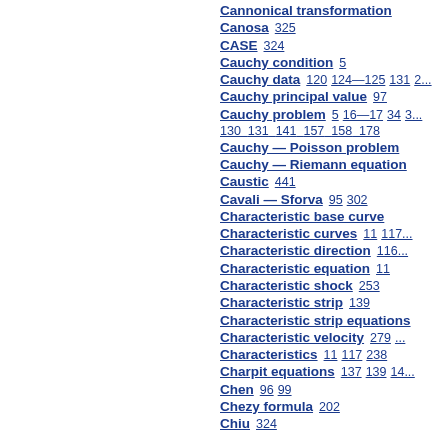Cannonical transformation
Canosa    325
CASE    324
Cauchy condition    5
Cauchy data    120  124—125  131  2...
Cauchy principal value    97
Cauchy problem    5  16—17  34  3...  130  131  141  157  158  178
Cauchy — Poisson problem
Cauchy — Riemann equation
Caustic    441
Cavali — Sforva    95  302
Characteristic base curve
Characteristic curves    11  117...
Characteristic direction    116...
Characteristic equation    11
Characteristic shock    253
Characteristic strip    139
Characteristic strip equations
Characteristic velocity    279  ...
Characteristics    11  117  238
Charpit equations    137  139  14...
Chen    96  99
Chezy formula    202
Chiu    324